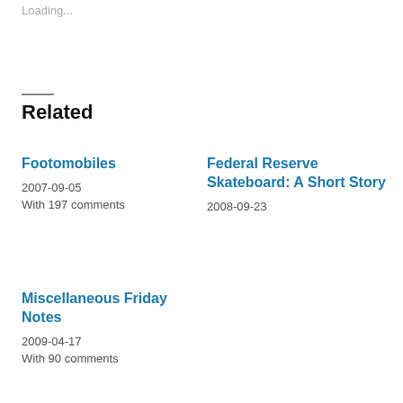Loading...
Related
Footomobiles
2007-09-05
With 197 comments
Federal Reserve Skateboard: A Short Story
2008-09-23
Miscellaneous Friday Notes
2009-04-17
With 90 comments